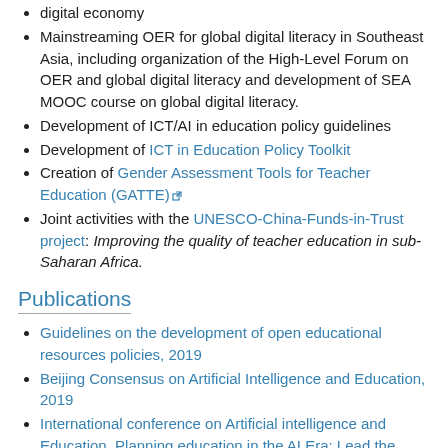digital economy
Mainstreaming OER for global digital literacy in Southeast Asia, including organization of the High-Level Forum on OER and global digital literacy and development of SEA MOOC course on global digital literacy.
Development of ICT/AI in education policy guidelines
Development of ICT in Education Policy Toolkit
Creation of Gender Assessment Tools for Teacher Education (GATTE)
Joint activities with the UNESCO-China-Funds-in-Trust project: Improving the quality of teacher education in sub-Saharan Africa.
Publications
Guidelines on the development of open educational resources policies, 2019
Beijing Consensus on Artificial Intelligence and Education, 2019
International conference on Artificial intelligence and Education, Planning education in the AI Era: Lead the leap: final report, 2019